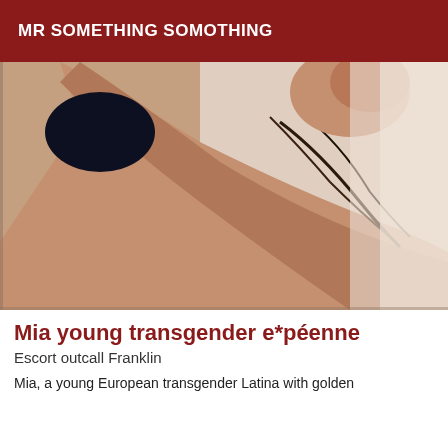MR SOMETHING SOMOTHING
[Figure (photo): A photograph of a person posing with arms raised, dark top, against a light background, photo cropped to show torso and arms]
Mia young transgender e*péenne
Escort outcall Franklin
Mia, a young European transgender Latina with golden